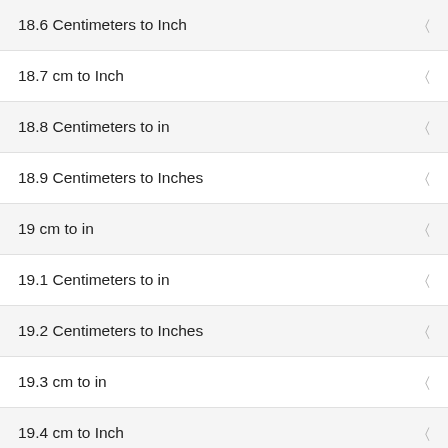18.6 Centimeters to Inch
18.7 cm to Inch
18.8 Centimeters to in
18.9 Centimeters to Inches
19 cm to in
19.1 Centimeters to in
19.2 Centimeters to Inches
19.3 cm to in
19.4 cm to Inch
19.5 Centimeters to in
19.6 cm to Inch
19.7 Centimeters to in
19.8 cm to in